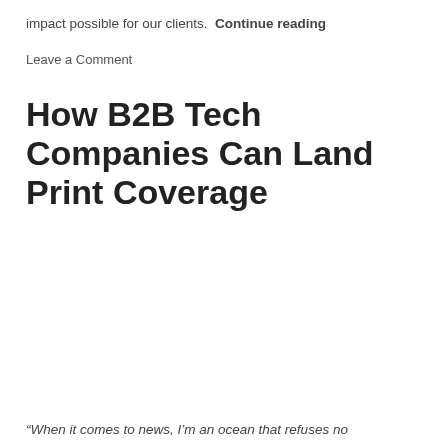impact possible for our clients.  Continue reading
Leave a Comment
How B2B Tech Companies Can Land Print Coverage
“When it comes to news, I’m an ocean that refuses no